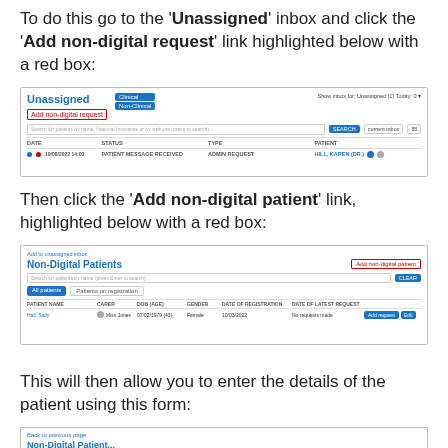To do this go to the 'Unassigned' inbox and click the 'Add non-digital request' link highlighted below with a red box:
[Figure (screenshot): Screenshot of Unassigned inbox UI showing 'Add non-digital request' link highlighted with a red box, with a table row showing patient message received]
Then click the 'Add non-digital patient' link, highlighted below with a red box:
[Figure (screenshot): Screenshot of Non-Digital Patients page showing 'Add non-digital patient' link highlighted with a red box, patient table with Hall, Sally row]
This will then allow you to enter the details of the patient using this form:
[Figure (screenshot): Partial screenshot of a form for entering patient details]